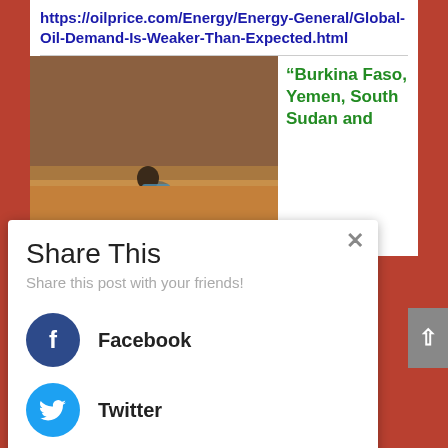https://oilprice.com/Energy/Energy-General/Global-Oil-Demand-Is-Weaker-Than-Expected.html
[Figure (photo): A woman cooking over an open fire outdoors with clay pots, in front of a brick wall, in a developing-world setting.]
"Burkina Faso, Yemen, South Sudan and
Share This
Share this post with your friends!
Facebook
Twitter